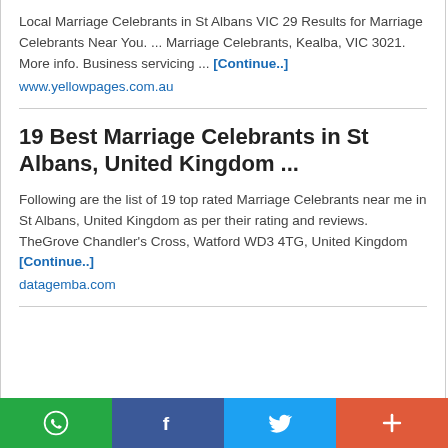Local Marriage Celebrants in St Albans VIC 29 Results for Marriage Celebrants Near You. ... Marriage Celebrants, Kealba, VIC 3021. More info. Business servicing ... [Continue..] www.yellowpages.com.au
19 Best Marriage Celebrants in St Albans, United Kingdom ...
Following are the list of 19 top rated Marriage Celebrants near me in St Albans, United Kingdom as per their rating and reviews. TheGrove Chandler's Cross, Watford WD3 4TG, United Kingdom [Continue..] datagemba.com